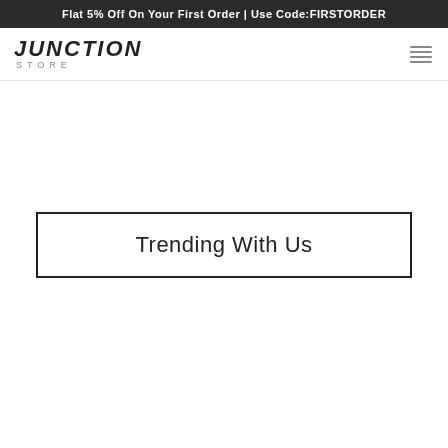Flat 5% Off On Your First Order | Use Code:FIRSTORDER
[Figure (logo): Junction Store logo with bold italic JUNCTION text and STORE subtitle in spaced letters]
Trending With Us